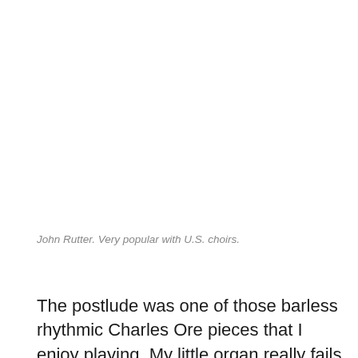John Rutter. Very popular with U.S. choirs.
The postlude was one of those barless rhythmic Charles Ore pieces that I enjoy playing. My little organ really fails to render a postlude audibly